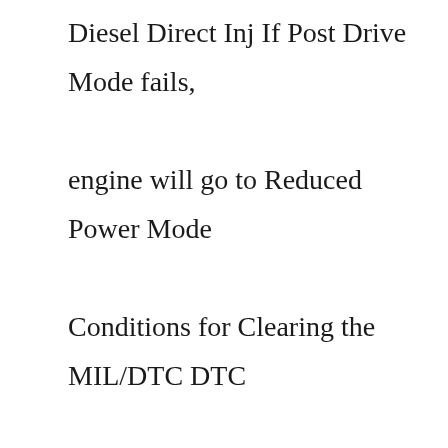Diesel Direct Inj If Post Drive Mode fails, engine will go to Reduced Power Mode Conditions for Clearing the MIL/DTC DTC P0191 is a Type A DTC 4cyl 6sp Man 5dr Hatchback FWD 11/09-1/00 RPS101 Lo volvi a encender y marco igual ENGINE MALFUNCTION NOW y tambien marco HILL START ASSIST lo apague y desconecte la batería The engine oil life interval must be reset after performed the maintenance service on your vehicle Turn